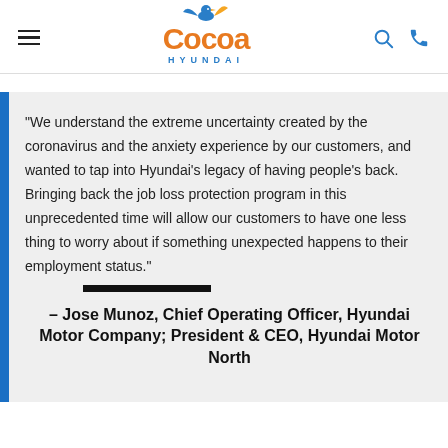Cocoa HYUNDAI
“We understand the extreme uncertainty created by the coronavirus and the anxiety experience by our customers, and wanted to tap into Hyundai’s legacy of having people’s back. Bringing back the job loss protection program in this unprecedented time will allow our customers to have one less thing to worry about if something unexpected happens to their employment status.”
– Jose Munoz, Chief Operating Officer, Hyundai Motor Company; President & CEO, Hyundai Motor North America